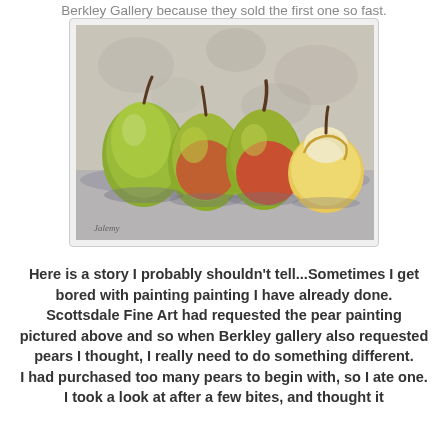Berkley Gallery because they sold the first one so fast.
[Figure (illustration): A realistic oil painting of four pears arranged on a surface — three whole green-yellow pears and one pear with bites taken out of it, showing the white interior flesh. The pears cast soft shadows on a grey surface. Artist signature visible at lower left.]
Here is a story I probably shouldn't tell...Sometimes I get bored with painting painting I have already done. Scottsdale Fine Art had requested the pear painting pictured above and so when Berkley gallery also requested pears I thought, I really need to do something different.
I had purchased too many pears to begin with, so I ate one. I took a look at after a few bites, and thought it